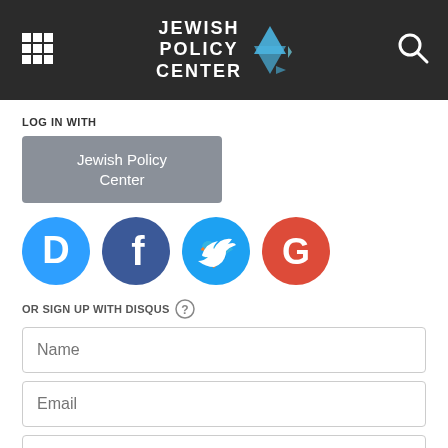[Figure (logo): Jewish Policy Center logo with Star of David graphic on dark header bar, grid menu icon on left, search icon on right]
LOG IN WITH
[Figure (screenshot): Gray button labeled 'Jewish Policy Center']
[Figure (infographic): Social login icons: Disqus (blue D), Facebook (dark blue f), Twitter (light blue bird), Google (red G)]
OR SIGN UP WITH DISQUS ?
Name
Email
Password
Please access our Privacy Policy to learn what personal data Disqus collects and your choices about how it is used. All users of our service are also subject to our Terms of Service.
I'd rather post as a guest